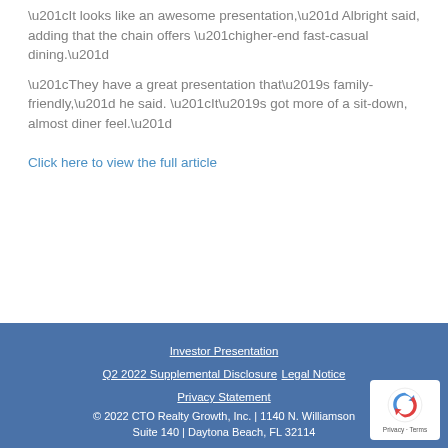“It looks like an awesome presentation,” Albright said, adding that the chain offers “higher-end fast-casual dining.”
“They have a great presentation that’s family-friendly,” he said. “It’s got more of a sit-down, almost diner feel.”
Click here to view the full article
Investor Presentation | Q2 2022 Supplemental Disclosure | Legal Notice | Privacy Statement | © 2022 CTO Realty Growth, Inc. | 1140 N. Williamson Suite 140 | Daytona Beach, FL 32114